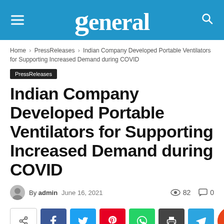general
Home › PressReleases › Indian Company Developed Portable Ventilators for Supporting Increased Demand during COVID
PressReleases
Indian Company Developed Portable Ventilators for Supporting Increased Demand during COVID
By admin  June 16, 2021   82   0